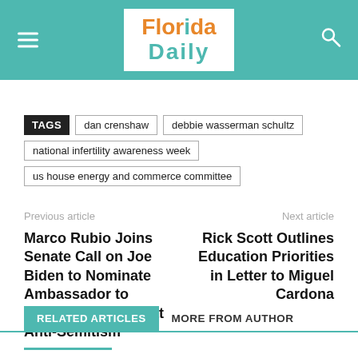Florida Daily
TAGS  dan crenshaw  debbie wasserman schultz  national infertility awareness week  us house energy and commerce committee
Previous article
Marco Rubio Joins Senate Call on Joe Biden to Nominate Ambassador to Monitor and Combat Anti-Semitism
Next article
Rick Scott Outlines Education Priorities in Letter to Miguel Cardona
RELATED ARTICLES  MORE FROM AUTHOR